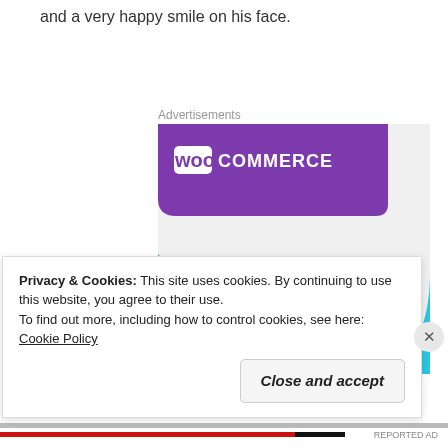and a very happy smile on his face.
Advertisements
[Figure (screenshot): WooCommerce advertisement banner showing purple WooCommerce logo, teal and blue decorative shapes, and bold text reading 'How to start selling subscriptions online' with a purple button below.]
Privacy & Cookies: This site uses cookies. By continuing to use this website, you agree to their use.
To find out more, including how to control cookies, see here: Cookie Policy
Close and accept